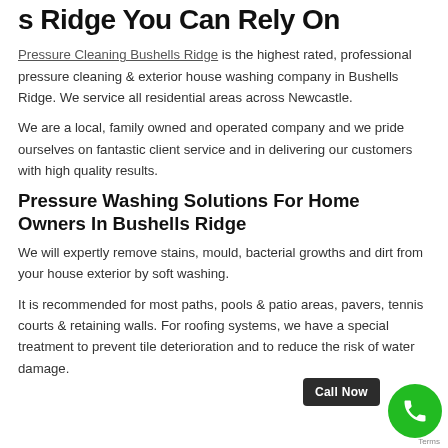s Ridge You Can Rely On
Pressure Cleaning Bushells Ridge is the highest rated, professional pressure cleaning & exterior house washing company in Bushells Ridge. We service all residential areas across Newcastle.
We are a local, family owned and operated company and we pride ourselves on fantastic client service and in delivering our customers with high quality results.
Pressure Washing Solutions For Home Owners In Bushells Ridge
We will expertly remove stains, mould, bacterial growths and dirt from your house exterior by soft washing.
It is recommended for most paths, pools & patio areas, pavers, tennis courts & retaining walls. For roofing systems, we have a special treatment to prevent tile deterioration and to reduce the risk of water damage.